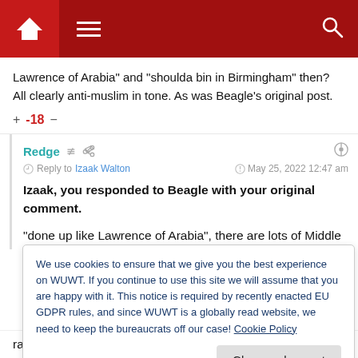WUWT site header with home, menu, and search icons
Lawrence of Arabia" and "shoulda bin in Birmingham" then? All clearly anti-muslim in tone. As was Beagle's original post.
+ -18 −
Redge
Reply to Izaak Walton   May 25, 2022 12:47 am
Izaak, you responded to Beagle with your original comment.

"done up like Lawrence of Arabia", there are lots of Middle
We use cookies to ensure that we give you the best experience on WUWT. If you continue to use this site we will assume that you are happy with it. This notice is required by recently enacted EU GDPR rules, and since WUWT is a globally read website, we need to keep the bureaucrats off our case! Cookie Policy
Close and accept
racism. They assume the 70s sitcom is racist whereas it's